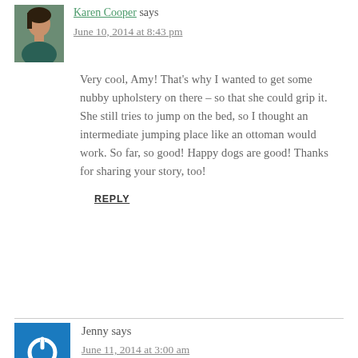[Figure (photo): Avatar photo of Karen Cooper, a woman in a dark teal/green top]
Karen Cooper says
June 10, 2014 at 8:43 pm
Very cool, Amy! That's why I wanted to get some nubby upholstery on there – so that she could grip it. She still tries to jump on the bed, so I thought an intermediate jumping place like an ottoman would work. So far, so good! Happy dogs are good! Thanks for sharing your story, too!
REPLY
[Figure (logo): Blue square icon with white power/circle symbol — default avatar for Jenny]
Jenny says
June 11, 2014 at 3:00 am
I have an 18 year old cat who is still in